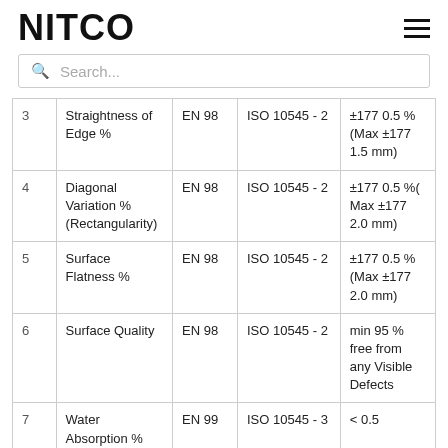NITCO
| # | Parameter | EN | ISO | Specification |
| --- | --- | --- | --- | --- |
| 3 | Straightness of Edge % | EN 98 | ISO 10545 - 2 | ±177 0.5 % (Max ±177 1.5 mm) |
| 4 | Diagonal Variation % (Rectangularity) | EN 98 | ISO 10545 - 2 | ±177 0.5 %( Max ±177 2.0 mm) |
| 5 | Surface Flatness % | EN 98 | ISO 10545 - 2 | ±177 0.5 % (Max ±177 2.0 mm) |
| 6 | Surface Quality | EN 98 | ISO 10545 - 2 | min 95 % free from any Visible Defects |
| 7 | Water Absorption % | EN 99 | ISO 10545 - 3 | < 0.5 |